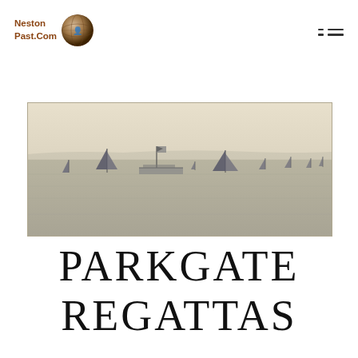NestonPast.Com
[Figure (photo): Black and white panoramic photograph of sailing boats on a wide estuary or sea, with several sailboats visible across the water and a flat distant shoreline on the horizon. A larger vessel with a flag is visible in the centre-left.]
PARKGATE REGATTAS